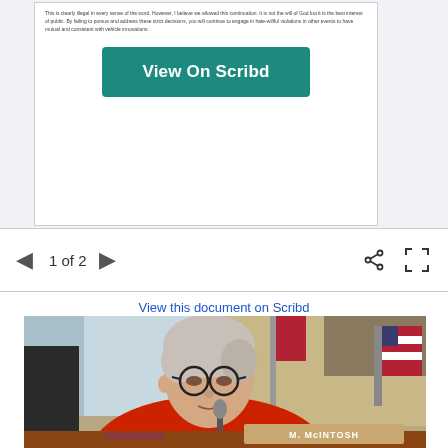[Figure (screenshot): Scribd document preview card showing small text and a teal 'View On Scribd' button]
1 of 2
View this document on Scribd
[Figure (photo): Photo of a woman with white hair wearing a red blazer seated at a hearing table with a nameplate reading 'M. McINTOSH', microphone, and American flags in the background]